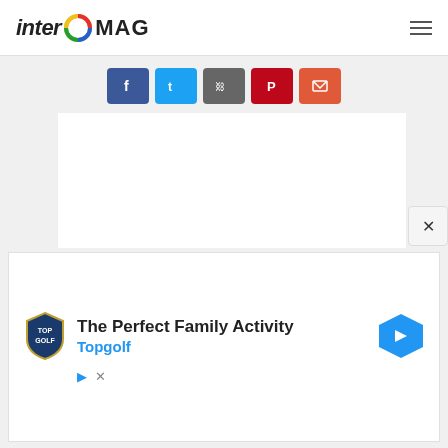interO MAG
[Figure (screenshot): Social sharing buttons: Facebook (blue), Twitter (light blue), Share (gray), Pinterest (dark red), Email (orange-red)]
[Figure (screenshot): White article content area (blank)]
[Figure (screenshot): Advertisement banner: Topgolf logo, text 'The Perfect Family Activity' and 'Topgolf' in blue, navigation arrow icon, play and dismiss controls]
[Figure (screenshot): Close button (X) on the right side of ad banner]